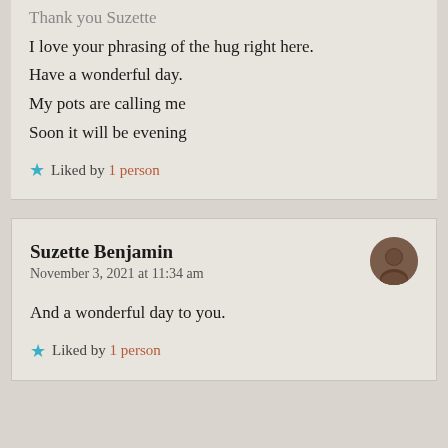Thank you Suzette I love your phrasing of the hug right here. Have a wonderful day. My pots are calling me Soon it will be evening
Liked by 1 person
Suzette Benjamin
November 3, 2021 at 11:34 am
And a wonderful day to you.
Liked by 1 person